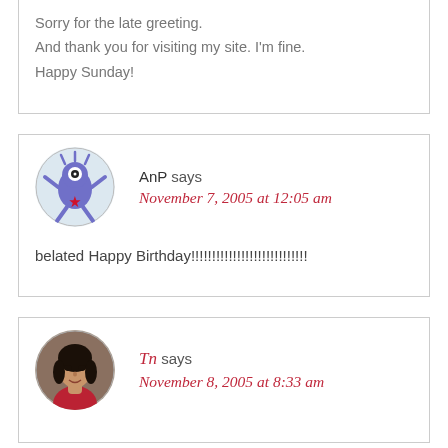Sorry for the late greeting.
And thank you for visiting my site. I'm fine.
Happy Sunday!
AnP says
November 7, 2005 at 12:05 am
belated Happy Birthday!!!!!!!!!!!!!!!!!!!!!!!!!!!!
Tn says
November 8, 2005 at 8:33 am